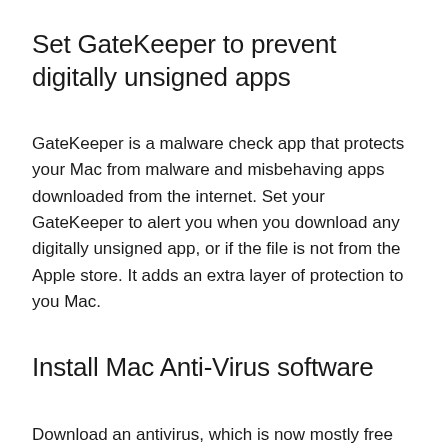Set GateKeeper to prevent digitally unsigned apps
GateKeeper is a malware check app that protects your Mac from malware and misbehaving apps downloaded from the internet. Set your GateKeeper to alert you when you download any digitally unsigned app, or if the file is not from the Apple store. It adds an extra layer of protection to you Mac.
Install Mac Anti-Virus software
Download an antivirus, which is now mostly free these days, which keeps your system in constant check.